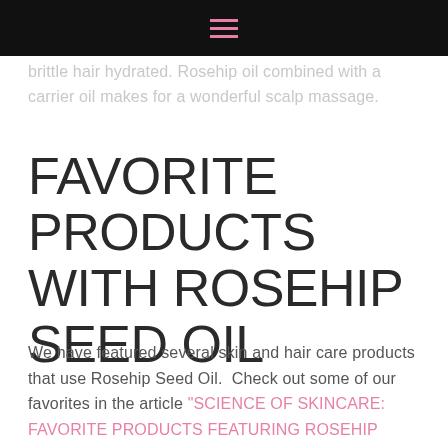☰
brittle hair hydrated. Rosehip oil combined with a carrier oil makes for a wonderful scalp massage.
FAVORITE PRODUCTS WITH ROSEHIP SEED OIL
We have featured several skin and hair care products that use Rosehip Seed Oil.  Check out some of our favorites in the article "SCIENCE OF SKINCARE: FAVORITE PRODUCTS FEATURING ROSEHIP SEED OIL"